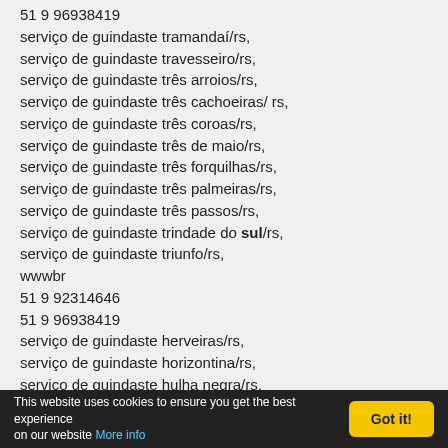51 9 96938419
serviço de guindaste tramandaí/rs,
serviço de guindaste travesseiro/rs,
serviço de guindaste três arroios/rs,
serviço de guindaste três cachoeiras/ rs,
serviço de guindaste três coroas/rs,
serviço de guindaste três de maio/rs,
serviço de guindaste três forquilhas/rs,
serviço de guindaste três palmeiras/rs,
serviço de guindaste três passos/rs,
serviço de guindaste trindade do sul/rs,
serviço de guindaste triunfo/rs,
wwwbr
51 9 92314646
51 9 96938419
serviço de guindaste herveiras/rs,
serviço de guindaste horizontina/rs,
serviço de guindaste hulha negra/rs,
This website uses cookies to ensure you get the best experience on our website More info   Got it!